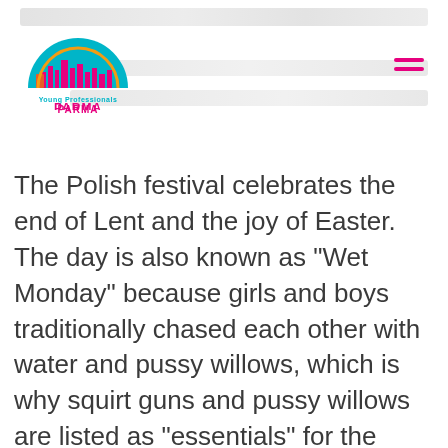Young Professionals Parma logo and navigation header
The Polish festival celebrates the end of Lent and the joy of Easter. The day is also known as “Wet Monday” because girls and boys traditionally chased each other with water and pussy willows, which is why squirt guns and pussy willows are listed as “essentials” for the Cleveland celebration.